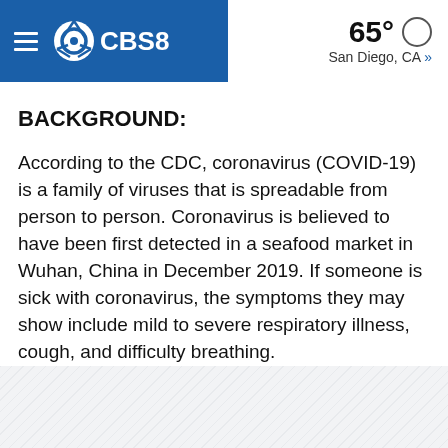CBS8 — 65° San Diego, CA »
BACKGROUND:
According to the CDC, coronavirus (COVID-19) is a family of viruses that is spreadable from person to person. Coronavirus is believed to have been first detected in a seafood market in Wuhan, China in December 2019. If someone is sick with coronavirus, the symptoms they may show include mild to severe respiratory illness, cough, and difficulty breathing.
Currently, there is no vaccine, however, the CDC suggests the following precautions, as with any other respiratory illness: